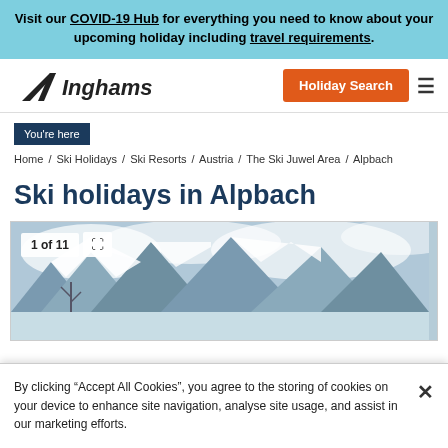Visit our COVID-19 Hub for everything you need to know about your upcoming holiday including travel requirements.
[Figure (logo): Inghams logo with chevron/ski slope icon and italic text]
Holiday Search
You're here
Home / Ski Holidays / Ski Resorts / Austria / The Ski Juwel Area / Alpbach
Ski holidays in Alpbach
[Figure (photo): Mountain ski resort photo showing snowy peaks and cloudy sky, labeled 1 of 11]
By clicking “Accept All Cookies”, you agree to the storing of cookies on your device to enhance site navigation, analyse site usage, and assist in our marketing efforts.